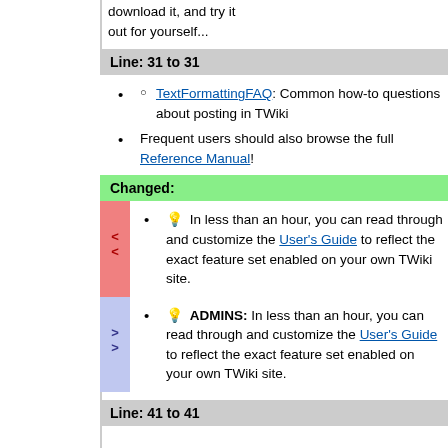download it, and try it out for yourself...
Line: 31 to 31
TextFormattingFAQ: Common how-to questions about posting in TWiki
Frequent users should also browse the full Reference Manual!
Changed:
💡 In less than an hour, you can read through and customize the User's Guide to reflect the exact feature set enabled on your own TWiki site.
💡 ADMINS: In less than an hour, you can read through and customize the User's Guide to reflect the exact feature set enabled on your own TWiki site.
Line: 41 to 41